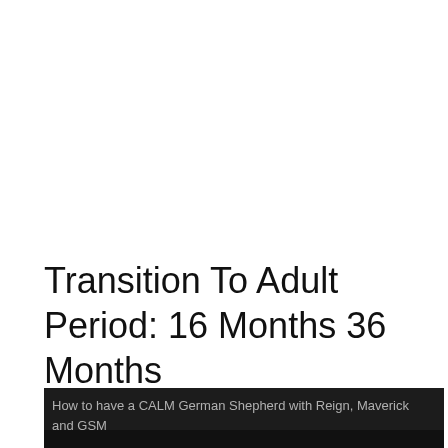Transition To Adult Period: 16 Months 36 Months
[Figure (screenshot): Video thumbnail showing a dark background with a German Shepherd dog partially visible. Overlay text reads: 'How to have a CALM German Shepherd with Reign, Maverick and GSM']